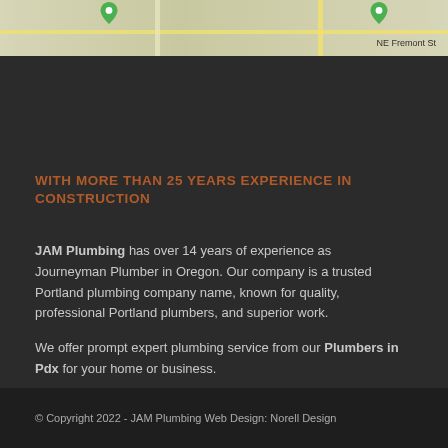[Figure (map): Google Maps style street map showing NE Fremont St area with two map pin markers and yellow road lines]
WITH MORE THAN 25 YEARS EXPERIENCE IN CONSTRUCTION
JAM Plumbing has over 14 years of experience as Journeyman Plumber in Oregon. Our company is a trusted Portland plumbing company name, known for quality, professional Portland plumbers, and superior work.

We offer prompt expert plumbing service from our Plumbers in Pdx for your home or business.
© Copyright 2022 - JAM Plumbing Web Design: Norell Design